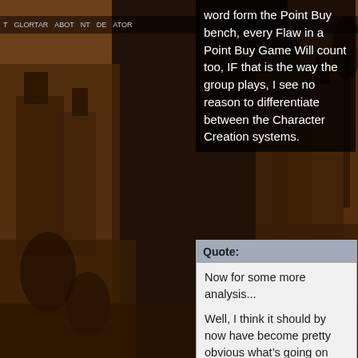[Figure (illustration): Medieval or fantasy city illustration with dark sepia tones, showing buildings, arches, towers, and figures, serving as background to the page.]
word form the Point Buy bench, every Flaw in a Point Buy Game Will count too, IF that is the way the group plays, I see no reason to differentiate between the Character Creation systems.
Quote:
Now for some more analysis...
Well, I think it should by now have become pretty obvious what’s going on behind the scenes with Layanna, Itzcoatl, Ghost Jaguar and